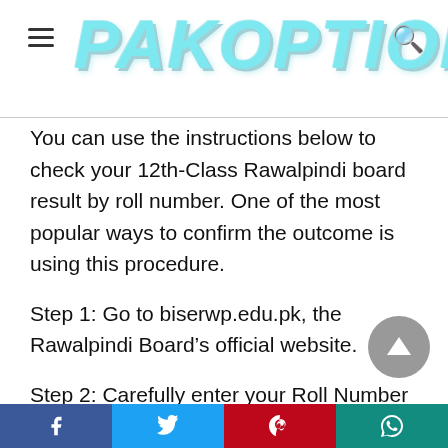PAKOPTION
You can use the instructions below to check your 12th-Class Rawalpindi board result by roll number. One of the most popular ways to confirm the outcome is using this procedure.
Step 1: Go to biserwp.edu.pk, the Rawalpindi Board’s official website.
Step 2: Carefully enter your Roll Number in the space given.
Step 3: Add a Board.
Facebook | Twitter | Pinterest | WhatsApp